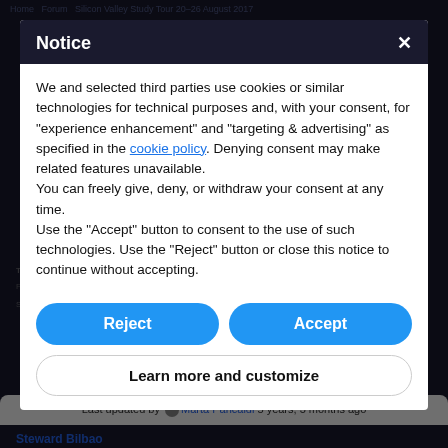Notice
We and selected third parties use cookies or similar technologies for technical purposes and, with your consent, for "experience enhancement" and "targeting & advertising" as specified in the cookie policy. Denying consent may make related features unavailable.
You can freely give, deny, or withdraw your consent at any time.
Use the "Accept" button to consent to the use of such technologies. Use the "Reject" button or close this notice to continue without accepting.
Reject
Accept
Learn more and customize
Last updated by Marta Pancaldi 5 years, 3 months ago
Steward Bilbao